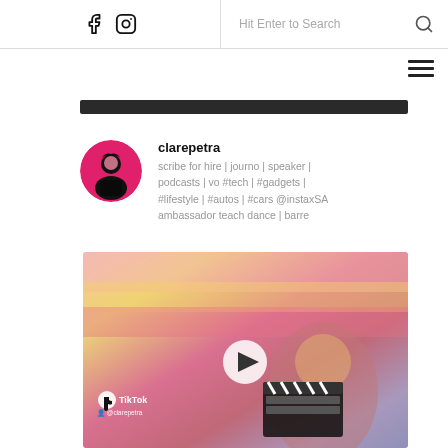Facebook | Instagram | Hit Enter to Search
[Figure (screenshot): Dark banner strip at top of content area]
[Figure (photo): Profile photo of clarepetra — woman with dark hair against pink background]
clarepetra
scribe for hire | journo | speaker | podcasts | vo #tech | #gadgets | #lifestyle | #autos | #cars @instaxSA ambassador teach dance | barre
[Figure (screenshot): TikTok video thumbnail showing a woman holding a clapperboard against a colorful pink/yellow/red blurred background, with TikTok logo overlay and play button]